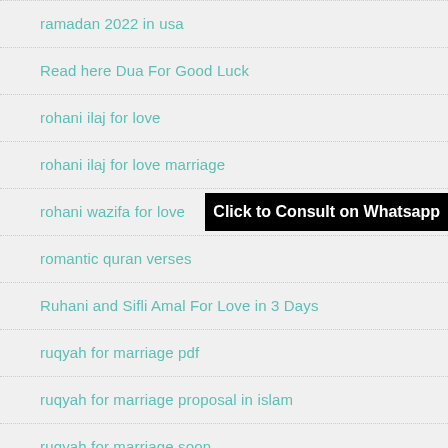ramadan 2022 in usa
Read here Dua For Good Luck
rohani ilaj for love
rohani ilaj for love marriage
rohani wazifa for love
romantic quran verses
Ruhani and Sifli Amal For Love in 3 Days
ruqyah for marriage pdf
ruqyah for marriage proposal in islam
ruqyah for marriage soon